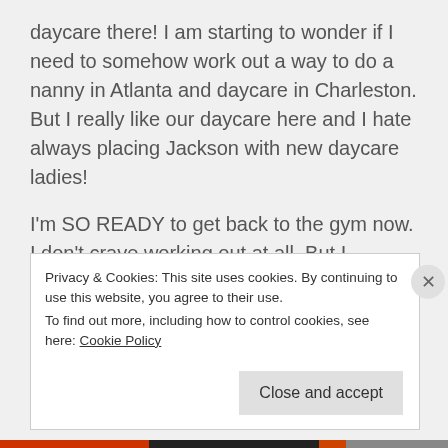daycare there! I am starting to wonder if I need to somehow work out a way to do a nanny in Atlanta and daycare in Charleston. But I really like our daycare here and I hate always placing Jackson with new daycare ladies!
I'm SO READY to get back to the gym now. I don't crave working out at all. But I weighed myself with my boot on yesterday and was 95lbs. So I'm probably like, 93lbs, and that was after eating all
Privacy & Cookies: This site uses cookies. By continuing to use this website, you agree to their use.
To find out more, including how to control cookies, see here: Cookie Policy
Close and accept